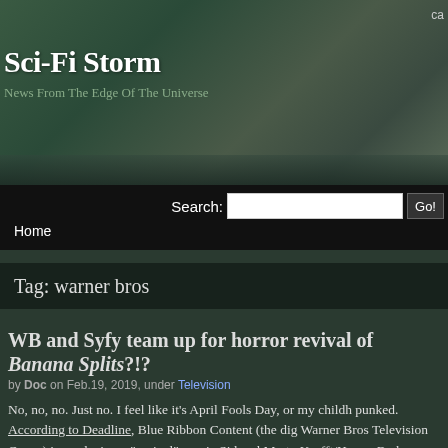ca
Sci-Fi Storm
News From The Edge Of The Universe
Search: [input] Go! Home
Tag: warner bros
WB and Syfy team up for horror revival of Banana Splits?!?
by Doc on Feb.19, 2019, under Television
No, no, no. Just no. I feel like it's April Fools Day, or my childh punked. According to Deadline, Blue Ribbon Content (the dig Warner Bros Television Group) is producing a "revival" movie Sid and Marty Krofft/Hanna-Barbera live-action/animated kids Banana Splits Adventure Hour, or at least more specifically fo anthropomorphic animal hosts and musicians of the show, Bi Drooper and Snorky, collectively known as "The Banana Split get a direct-to-video release via Warner Bros Home Entertain showings on Syfy.